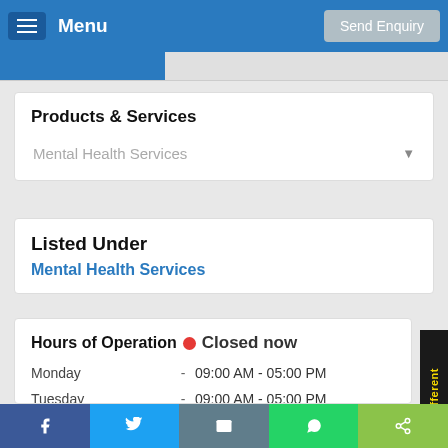Menu   Send Enquiry
Products & Services
Mental Health Services
Listed Under
Mental Health Services
Hours of Operation  Closed now
Monday   -   09:00 AM - 05:00 PM
Tuesday   -   09:00 AM - 05:00 PM
Wednesday   -   09:00 AM - 05:00 PM
Thursday   -   09:00 AM - 05:00 PM
f   Twitter   Email   WhatsApp   Share